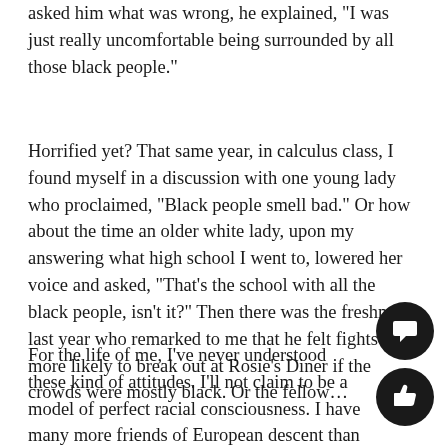asked him what was wrong, he explained, "I was just really uncomfortable being surrounded by all those black people."
Horrified yet? That same year, in calculus class, I found myself in a discussion with one young lady who proclaimed, "Black people smell bad." Or how about the time an older white lady, upon my answering what high school I went to, lowered her voice and asked, "That's the school with all the black people, isn't it?" Then there was the freshman last year who remarked to me that he felt fights were more likely to break out at Rosie's Diner if the crowds were mostly black. Or the fellow...
For the life of me, I've never understood these kind of attitudes. I'll not claim to be a model of perfect racial consciousness. I have many more friends of European descent than I do of African descent; the social circ...